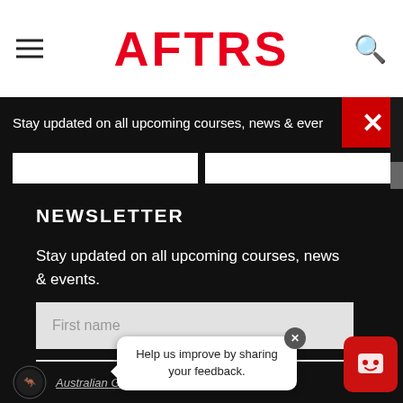AFTRS
Stay updated on all upcoming courses, news & events.
NEWSLETTER
Stay updated on all upcoming courses, news & events.
First name
Last name
Help us improve by sharing your feedback.
Australian Government